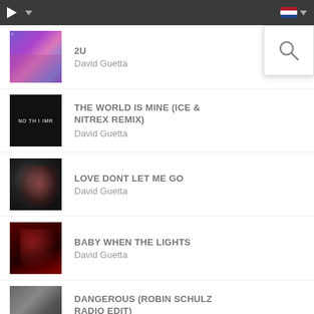Music player app header with play button, dropdown, and Netherlands flag
2U — David Guetta
THE WORLD IS MINE (ICE & NITREX REMIX) — David Guetta
LOVE DONT LET ME GO — David Guetta
BABY WHEN THE LIGHTS — David Guetta
DANGEROUS (ROBIN SCHULZ RADIO EDIT) — David Guetta Ft. ...
JUST A LITTLE MORE LOVE — David Guetta
[Figure (screenshot): Search icon popup overlay in top-right corner]